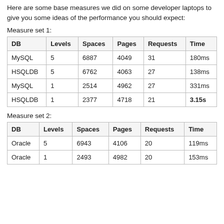Here are some base measures we did on some developer laptops to give you some ideas of the performance you should expect:
Measure set 1:
| DB | Levels | Spaces | Pages | Requests | Time |
| --- | --- | --- | --- | --- | --- |
| MySQL | 5 | 6887 | 4049 | 31 | 180ms |
| HSQLDB | 5 | 6762 | 4063 | 27 | 138ms |
| MySQL | 1 | 2514 | 4962 | 27 | 331ms |
| HSQLDB | 1 | 2377 | 4718 | 21 | 3.15s |
Measure set 2:
| DB | Levels | Spaces | Pages | Requests | Time |
| --- | --- | --- | --- | --- | --- |
| Oracle | 5 | 6943 | 4106 | 20 | 119ms |
| Oracle | 1 | 2493 | 4982 | 20 | 153ms |